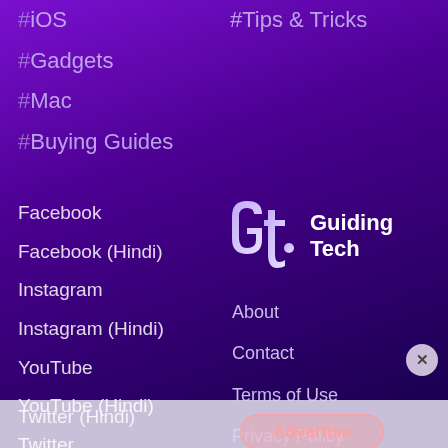#iOS
#Gadgets
#Mac
#Buying Guides
#Tips & Tricks
Facebook
Facebook (Hindi)
Instagram
Instagram (Hindi)
YouTube
YouTube (Hindi)
Twitter
[Figure (logo): Guiding Tech logo - GT letters in light purple/lavender gradient]
Guiding Tech
About
Contact
Terms of Use
Privacy Policy
Twitter (Hindi)
Advertise